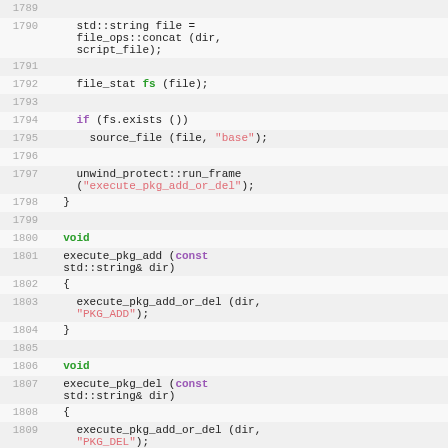Code listing lines 1789-1810 showing C++ source code for execute_pkg_add_or_del, execute_pkg_add, and execute_pkg_del functions
1789 (empty line), 1790: std::string file = file_ops::concat (dir, script_file);, 1791 (empty), 1792: file_stat fs (file);, 1793 (empty), 1794: if (fs.exists ()), 1795: source_file (file, "base");, 1796 (empty), 1797: unwind_protect::run_frame ("execute_pkg_add_or_del");, 1798: }, 1799 (empty), 1800: void, 1801: execute_pkg_add (const std::string& dir), 1802: {, 1803: execute_pkg_add_or_del (dir, "PKG_ADD");, 1804: }, 1805 (empty), 1806: void, 1807: execute_pkg_del (const std::string& dir), 1808: {, 1809: execute_pkg_add_or_del (dir, "PKG_DEL");, 1810: }